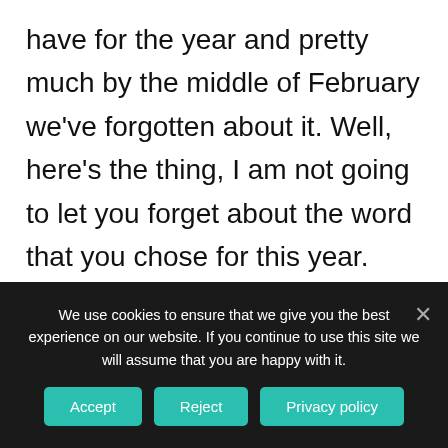have for the year and pretty much by the middle of February we've forgotten about it. Well, here's the thing, I am not going to let you forget about the word that you chose for this year. That is a very important word. That is your intention. You chose that from a place of deep introspection, and focused clarity, and worthy intention. And I'm not going to let you forget what your word was for the year. So, how have you embodied your word for the year? Have
We use cookies to ensure that we give you the best experience on our website. If you continue to use this site we will assume that you are happy with it.